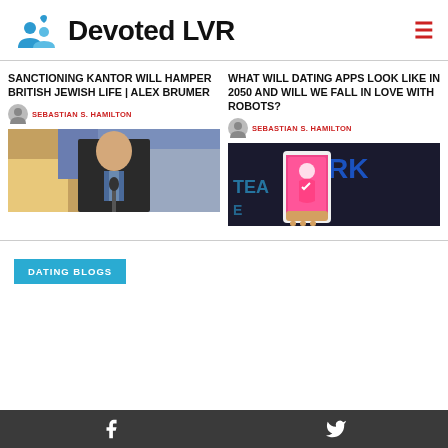Devoted LVR
SANCTIONING KANTOR WILL HAMPER BRITISH JEWISH LIFE | ALEX BRUMER
SEBASTIAN S. HAMILTON
[Figure (photo): Man in dark suit speaking at a podium with microphones]
WHAT WILL DATING APPS LOOK LIKE IN 2050 AND WILL WE FALL IN LOVE WITH ROBOTS?
SEBASTIAN S. HAMILTON
[Figure (photo): Hand holding a smartphone showing a dating app with pink interface, in front of neon signs]
DATING BLOGS
Facebook  Twitter